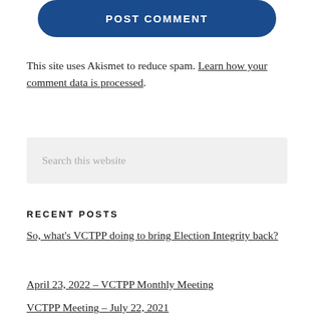[Figure (other): Blue rounded button with text POST COMMENT]
This site uses Akismet to reduce spam. Learn how your comment data is processed.
[Figure (other): Search input field with placeholder text 'Search this website']
RECENT POSTS
So, what's VCTPP doing to bring Election Integrity back?
April 23, 2022 – VCTPP Monthly Meeting
VCTPP Meeting – July 22, 2021